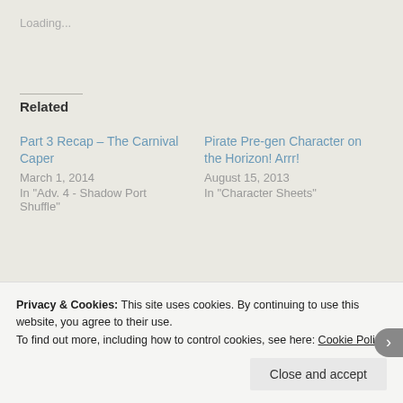Loading...
Related
Part 3 Recap – The Carnival Caper
March 1, 2014
In "Adv. 4 - Shadow Port Shuffle"
Pirate Pre-gen Character on the Horizon! Arrr!
August 15, 2013
In "Character Sheets"
Part 5 Recap – The Big Job
March 1, 2014
In "Adv. 4 - Shadow Port Shuffle"
Privacy & Cookies: This site uses cookies. By continuing to use this website, you agree to their use.
To find out more, including how to control cookies, see here: Cookie Policy
Close and accept